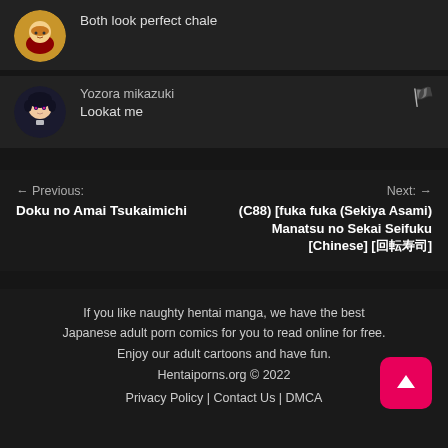Both look perfect chale
Yozora mikazuki
Lookat me
← Previous:
Doku no Amai Tsukaimichi
Next: →
(C88) [fuka fuka (Sekiya Asami) Manatsu no Sekai Seifuku [Chinese] [回転寿司]
If you like naughty hentai manga, we have the best Japanese adult porn comics for you to read online for free. Enjoy our adult cartoons and have fun.
Hentaiporns.org © 2022
Privacy Policy | Contact Us | DMCA